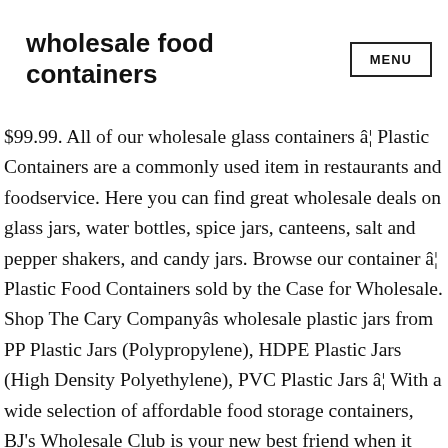wholesale food containers
$99.99. All of our wholesale glass containers â€¦ Plastic Containers are a commonly used item in restaurants and foodservice. Here you can find great wholesale deals on glass jars, water bottles, spice jars, canteens, salt and pepper shakers, and candy jars. Browse our container â€¦ Plastic Food Containers sold by the Case for Wholesale. Shop The Cary Companyâ€™s wholesale plastic jars from PP Plastic Jars (Polypropylene), HDPE Plastic Jars (High Density Polyethylene), PVC Plastic Jars â€¦ With a wide selection of affordable food storage containers, BJ's Wholesale Club is your new best friend when it comes to preserving leftovers, prepping meals and packing lunches for the week. 4.6 out of 5 stars â€¦ 32 Oz Tamper